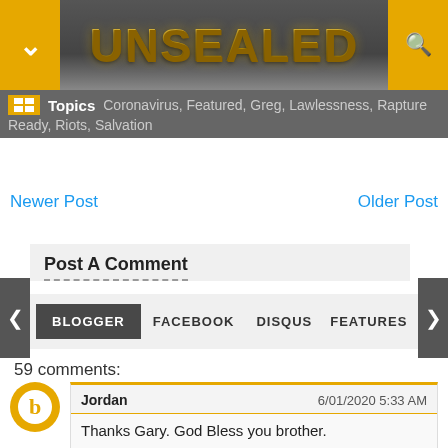UNSEALED
Topics  Coronavirus, Featured, Greg, Lawlessness, Rapture Ready, Riots, Salvation
Newer Post    Older Post
Post A Comment
BLOGGER   FACEBOOK   DISQUS   FEATURES
59 comments:
Jordan   6/01/2020 5:33 AM
Thanks Gary. God Bless you brother.
Reply